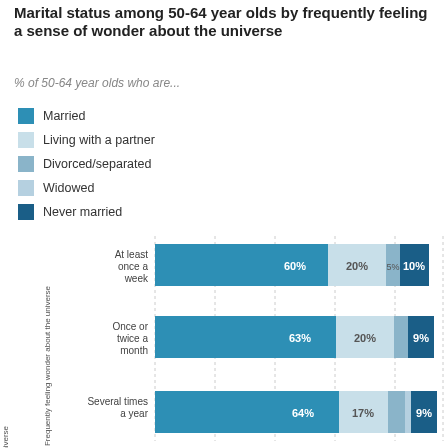Marital status among 50-64 year olds by frequently feeling a sense of wonder about the universe
% of 50-64 year olds who are...
Married
Living with a partner
Divorced/separated
Widowed
Never married
[Figure (stacked-bar-chart): Marital status among 50-64 year olds by frequently feeling a sense of wonder about the universe]